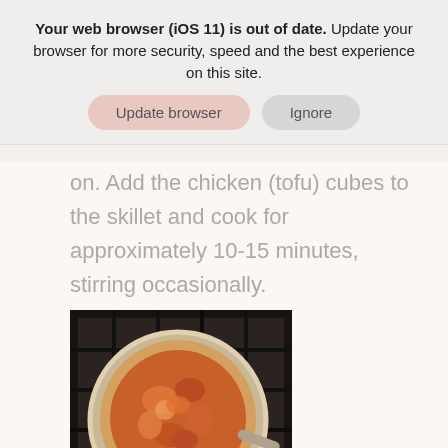Your web browser (iOS 11) is out of date. Update your browser for more security, speed and the best experience on this site.
Update browser   Ignore
on. Add the chicken (tofu) cubes to the skillet and cook for approximately 10-15 minutes, stirring occasionally.
[Figure (photo): Overhead view of a pot on a gas stove with chicken or tofu cooking in a reddish-orange sauce.]
3  While the chicken (tofu) is cooking, add the tomato paste and half and half